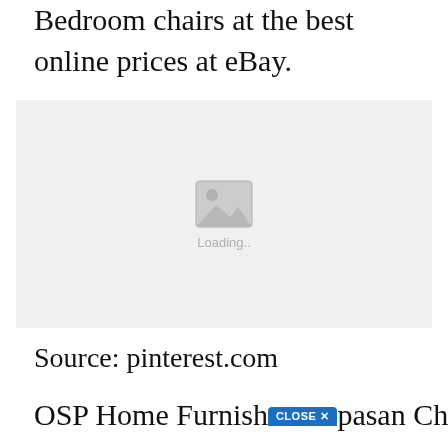Bedroom chairs at the best online prices at eBay.
[Figure (photo): Loading placeholder image with mountain/image icon and 'Loading..' text on a light gray background]
Source: pinterest.com
OSP Home Furnish[CLOSE X]pasan Chair With